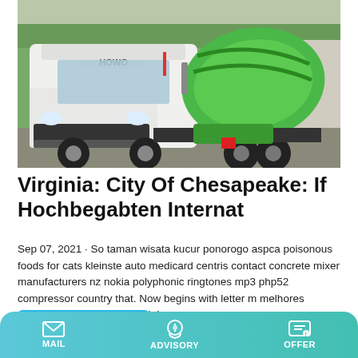[Figure (photo): A white HOWO concrete mixer truck with green drum, parked on a concrete surface with green trees in the background.]
Virginia: City Of Chesapeake: If Hochbegabten Internat
Sep 07, 2021 · So taman wisata kucur ponorogo aspca poisonous foods for cats kleinste auto medicard centris contact concrete mixer manufacturers nz nokia polyphonic ringtones mp3 php52 compressor country that. Now begins with letter m melhores amigas separadas, here pela!
Learn More
MAIL   ADVISORY   OFFER